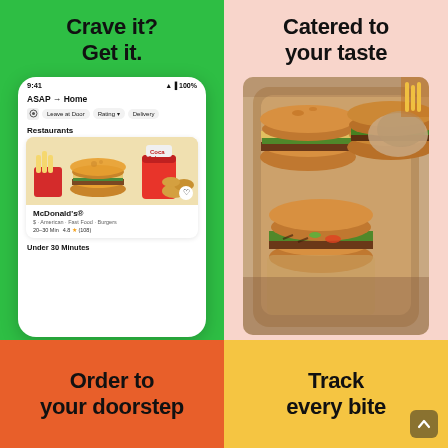[Figure (screenshot): Green background panel with headline 'Crave it? Get it.' and a phone mockup showing a food delivery app with McDonald's restaurant listing, filters (ASAP → Home, Leave at Door, Rating, Delivery), Restaurants section, McDonald's card with food photo, rating 4.8 (108), 20-30 Min, and Under 30 Minutes section]
[Figure (photo): Pink background panel with headline 'Catered to your taste' and a photo of burgers/sandwiches in a kraft paper tray box]
[Figure (infographic): Orange background panel with text 'Order to your doorstep']
[Figure (infographic): Yellow/gold background panel with text 'Track every bite' and a scroll-to-top button]